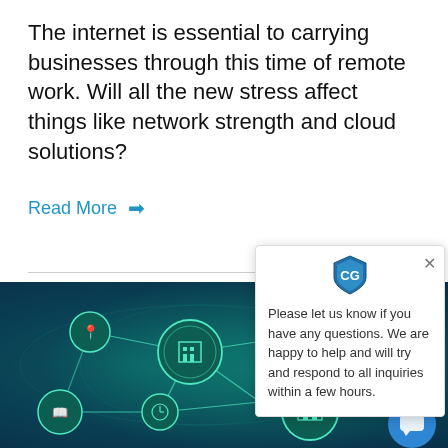The internet is essential to carrying businesses through this time of remote work. Will all the new stress affect things like network strength and cloud solutions?
Read More →
[Figure (screenshot): Chat widget popup with CG logo shield icon, close button, and message: Please let us know if you have any questions. We are happy to help and will try and respond to all inquiries within a few hours.]
[Figure (illustration): Teal/dark blue technology network illustration showing interconnected circular icons with industrial and location symbols on a world map background, with a blue chat bubble button in the lower right corner.]